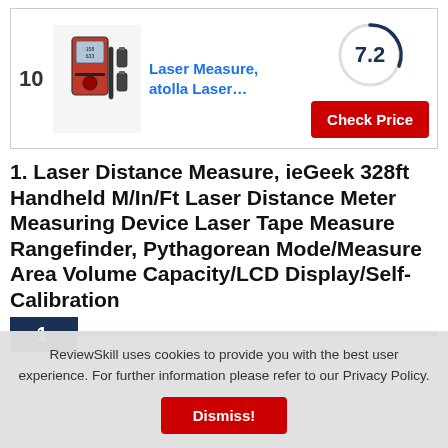[Figure (photo): Product card for Laser Measure atolla Laser... showing rank 10, product image of a laser distance measure device, score 7.2 in a circle, and a red Check Price button]
1. Laser Distance Measure, ieGeek 328ft Handheld M/In/Ft Laser Distance Meter Measuring Device Laser Tape Measure Rangefinder, Pythagorean Mode/Measure Area Volume Capacity/LCD Display/Self-Calibration
1
ReviewSkill uses cookies to provide you with the best user experience. For further information please refer to our Privacy Policy.
Dismiss!